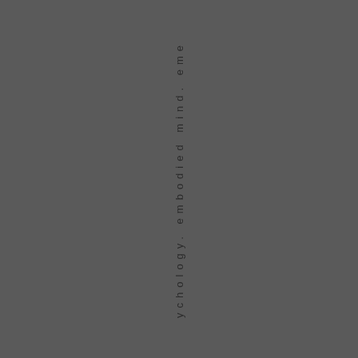[Figure (other): Book spine showing vertically oriented text reading 'ychology. embodied mind. eme' on a dark gray background with thin border lines on each side of the spine.]